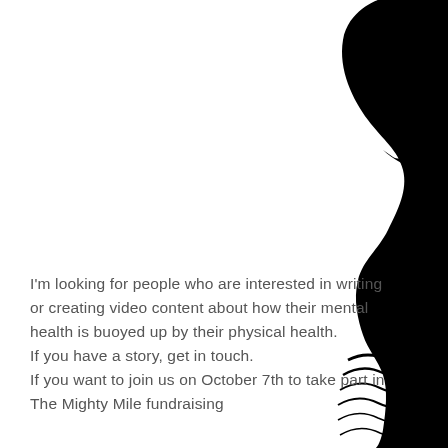[Figure (illustration): Black silhouette illustration of a person's side profile (head and torso), showing flowing hair and body curves, positioned on the right side of the page.]
I'm looking for people who are interested in writing or creating video content about how their mental health is buoyed up by their physical health. If you have a story, get in touch. If you want to join us on October 7th to take part in The Mighty Mile fundraising